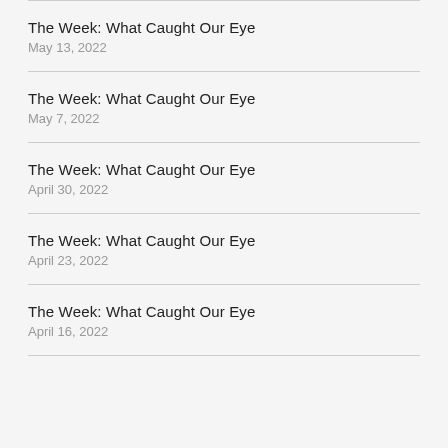The Week: What Caught Our Eye
May 13, 2022
The Week: What Caught Our Eye
May 7, 2022
The Week: What Caught Our Eye
April 30, 2022
The Week: What Caught Our Eye
April 23, 2022
The Week: What Caught Our Eye
April 16, 2022